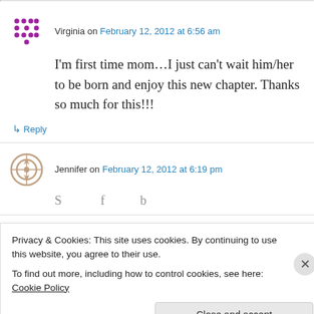Virginia on February 12, 2012 at 6:56 am
I'm first time mom…I just can't wait him/her to be born and enjoy this new chapter. Thanks so much for this!!!
↳ Reply
Jennifer on February 12, 2012 at 6:19 pm
Privacy & Cookies: This site uses cookies. By continuing to use this website, you agree to their use. To find out more, including how to control cookies, see here: Cookie Policy
Close and accept